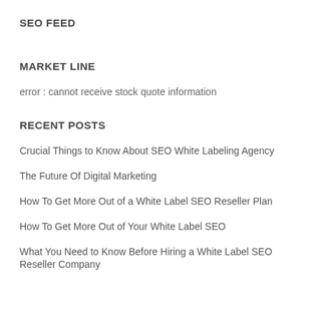SEO FEED
MARKET LINE
error : cannot receive stock quote information
RECENT POSTS
Crucial Things to Know About SEO White Labeling Agency
The Future Of Digital Marketing
How To Get More Out of a White Label SEO Reseller Plan
How To Get More Out of Your White Label SEO
What You Need to Know Before Hiring a White Label SEO Reseller Company